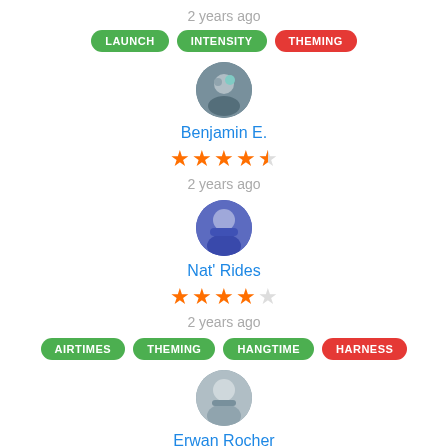2 years ago
LAUNCH · INTENSITY · THEMING
[Figure (photo): Circular avatar photo of Benjamin E.]
Benjamin E.
[Figure (other): 4.5 out of 5 stars rating]
2 years ago
[Figure (photo): Circular avatar photo of Nat' Rides]
Nat' Rides
[Figure (other): 4 out of 5 stars rating]
2 years ago
AIRTIMES · THEMING · HANGTIME · HARNESS
[Figure (photo): Circular avatar photo of Erwan Rocher]
Erwan Rocher